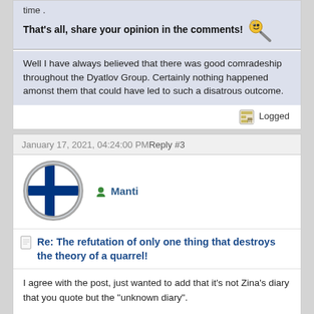time .
That's all, share your opinion in the comments!
Well I have always believed that there was good comradeship throughout the Dyatlov Group. Certainly nothing happened amonst them that could have led to such a disatrous outcome.
Logged
January 17, 2021, 04:24:00 PM Reply #3
[Figure (photo): Finland flag avatar in a circular frame]
Manti
Re: The refutation of only one thing that destroys the theory of a quarrel!
I agree with the post, just wanted to add that it's not Zina's diary that you quote but the "unknown diary".
It is not Zina's because of multiple reasons, strongest being that there's another diary that Zina wrote, why would she write two?